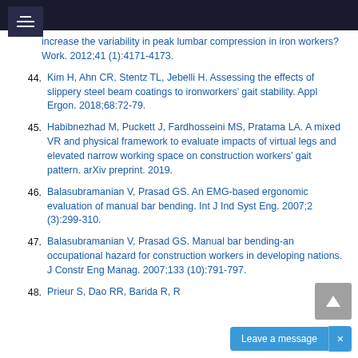increase the variability in peak lumbar compression in iron workers? Work. 2012;41 (1):4171-4173.
44. Kim H, Ahn CR, Stentz TL, Jebelli H. Assessing the effects of slippery steel beam coatings to ironworkers’ gait stability. Appl Ergon. 2018;68:72-79.
45. Habibnezhad M, Puckett J, Fardhosseini MS, Pratama LA. A mixed VR and physical framework to evaluate impacts of virtual legs and elevated narrow working space on construction workers’ gait pattern. arXiv preprint. 2019.
46. Balasubramanian V, Prasad GS. An EMG-based ergonomic evaluation of manual bar bending. Int J Ind Syst Eng. 2007;2 (3):299-310.
47. Balasubramanian V, Prasad GS. Manual bar bending-an occupational hazard for construction workers in developing nations. J Constr Eng Manag. 2007;133 (10):791-797.
48. Prieur S, Dao RR, Barida R, R...